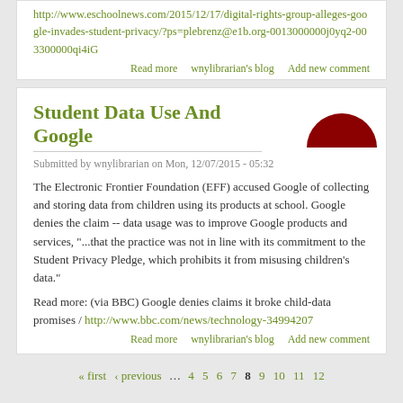http://www.eschoolnews.com/2015/12/17/digital-rights-group-alleges-google-invades-student-privacy/?ps=plebrenz@e1b.org-0013000000j0yq2-003300000qi4iG
Read more   wnylibrarian's blog   Add new comment
Student Data Use And Google
Submitted by wnylibrarian on Mon, 12/07/2015 - 05:32
The Electronic Frontier Foundation (EFF) accused Google of collecting and storing data from children using its products at school. Google denies the claim -- data usage was to improve Google products and services, "...that the practice was not in line with its commitment to the Student Privacy Pledge, which prohibits it from misusing children's data."
Read more: (via BBC) Google denies claims it broke child-data promises / http://www.bbc.com/news/technology-34994207
Read more   wnylibrarian's blog   Add new comment
« first  ‹ previous  … 4 5 6 7 8 9 10 11 12